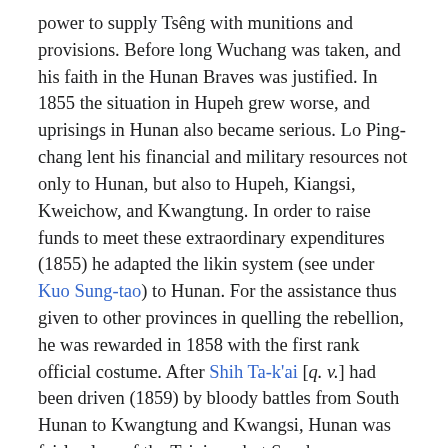power to supply Tsêng with munitions and provisions. Before long Wuchang was taken, and his faith in the Hunan Braves was justified. In 1855 the situation in Hupeh grew worse, and uprisings in Hunan also became serious. Lo Ping-chang lent his financial and military resources not only to Hunan, but also to Hupeh, Kiangsi, Kweichow, and Kwangtung. In order to raise funds to meet these extraordinary expenditures (1855) he adapted the likin system (see under Kuo Sung-tao) to Hunan. For the assistance thus given to other provinces in quelling the rebellion, he was rewarded in 1858 with the first rank official costume. After Shih Ta-k'ai [q. v.] had been driven (1859) by bloody battles from South Hunan to Kwangtung and Kwangsi, Hunan was fairly clear of the Taipings, but Szechwan was then harassed by bandits. In 1860 Lo Ping-chang was ordered to Szechwan to suppress the rebels, but he could not shift to the new scene of trouble